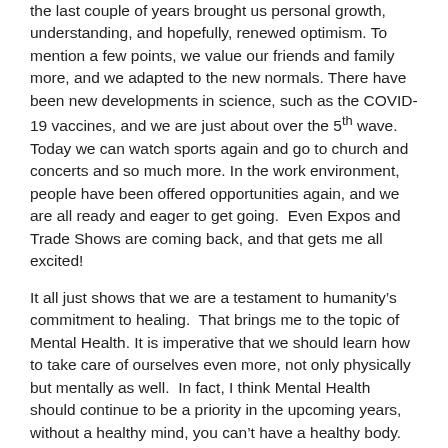the last couple of years brought us personal growth, understanding, and hopefully, renewed optimism. To mention a few points, we value our friends and family more, and we adapted to the new normals. There have been new developments in science, such as the COVID-19 vaccines, and we are just about over the 5th wave. Today we can watch sports again and go to church and concerts and so much more. In the work environment, people have been offered opportunities again, and we are all ready and eager to get going. Even Expos and Trade Shows are coming back, and that gets me all excited!
It all just shows that we are a testament to humanity’s commitment to healing. That brings me to the topic of Mental Health. It is imperative that we should learn how to take care of ourselves even more, not only physically but mentally as well. In fact, I think Mental Health should continue to be a priority in the upcoming years, without a healthy mind, you can’t have a healthy body.
What is Mental Health?